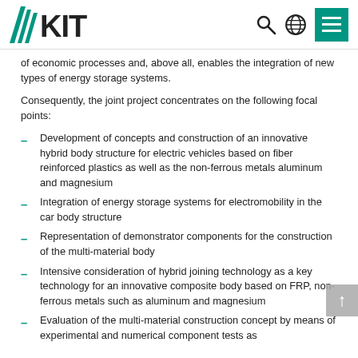KIT logo with search, globe, and menu icons
of economic processes and, above all, enables the integration of new types of energy storage systems.
Consequently, the joint project concentrates on the following focal points:
Development of concepts and construction of an innovative hybrid body structure for electric vehicles based on fiber reinforced plastics as well as the non-ferrous metals aluminum and magnesium
Integration of energy storage systems for electromobility in the car body structure
Representation of demonstrator components for the construction of the multi-material body
Intensive consideration of hybrid joining technology as a key technology for an innovative composite body based on FRP, non-ferrous metals such as aluminum and magnesium
Evaluation of the multi-material construction concept by means of experimental and numerical component tests as